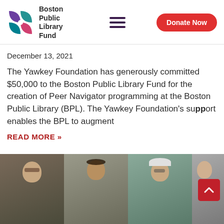Boston Public Library Fund — navigation header with logo, hamburger menu, and Donate Now button
December 13, 2021
The Yawkey Foundation has generously committed $50,000 to the Boston Public Library Fund for the creation of Peer Navigator programming at the Boston Public Library (BPL).  The Yawkey Foundation's support enables the BPL to augment
READ MORE »
[Figure (photo): Video call screenshot showing four participants: a woman with glasses on the left, a young man in the center-left, an older person with a white hat in the center-right, and a partially visible person on the far right. Red scroll-to-top arrow button visible in the lower right corner.]